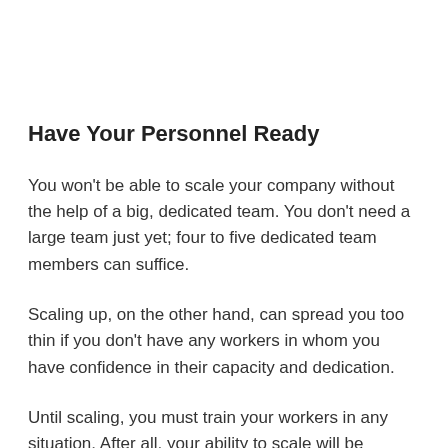Have Your Personnel Ready
You won’t be able to scale your company without the help of a big, dedicated team. You don’t need a large team just yet; four to five dedicated team members can suffice.
Scaling up, on the other hand, can spread you too thin if you don't have any workers in whom you have confidence in their capacity and dedication.
Until scaling, you must train your workers in any situation. After all, your ability to scale will be determined by the results of your entire team, not just